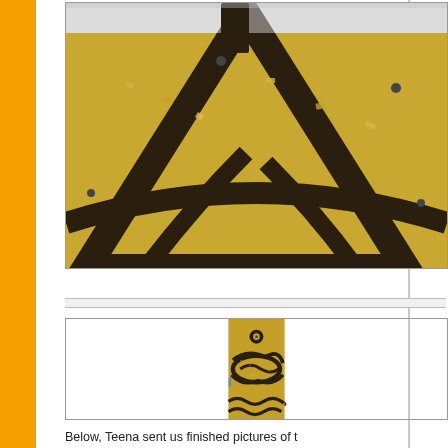[Figure (photo): Close-up photo of a dark brown decorative metalwork piece with golden/amber glass chunks or crushed glass filling the openings, showing geometric and curved cutout patterns. Small metal pins or screws visible.]
[Figure (photo): Close-up photo of a dark brown decorative metalwork bird or butterfly shape filled with golden/amber crushed glass in the cutout sections, photographed on a white surface.]
Below, Teena sent us finished pictures of t